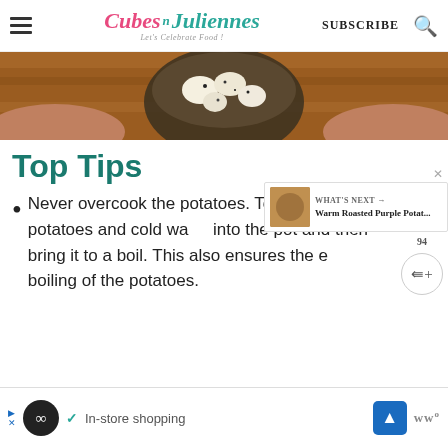Cubes n Juliennes — Let's Celebrate Food!  SUBSCRIBE
[Figure (photo): Hero image showing a bowl of potatoes held by two hands on a wooden surface, viewed from above]
Top Tips
Never overcook the potatoes. To avoid it, put potatoes and cold water into the pot and then bring it to a boil. This also ensures the even boiling of the potatoes.
[Figure (screenshot): Ad banner showing in-store shopping advertisement with icons]
[Figure (screenshot): What's Next widget showing Warm Roasted Purple Potatoes recommendation]